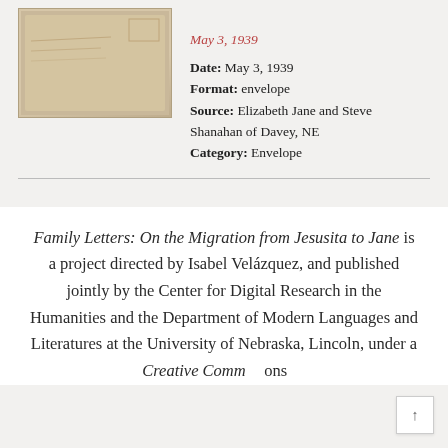[Figure (photo): Sepia-toned envelope or document thumbnail image]
May 3, 1939
Date: May 3, 1939
Format: envelope
Source: Elizabeth Jane and Steve Shanahan of Davey, NE
Category: Envelope
Family Letters: On the Migration from Jesusita to Jane is a project directed by Isabel Velázquez, and published jointly by the Center for Digital Research in the Humanities and the Department of Modern Languages and Literatures at the University of Nebraska, Lincoln, under a Creative Commons...